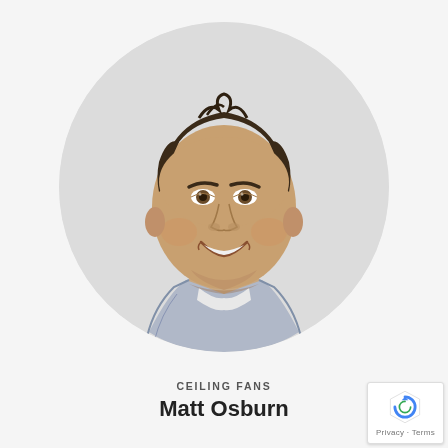[Figure (photo): Circular portrait photo of a smiling man with dark hair wearing a plaid shirt, against a light gray background]
CEILING FANS
Matt Osburn
[Figure (logo): reCAPTCHA badge with Google reCAPTCHA icon and 'Privacy · Terms' text]